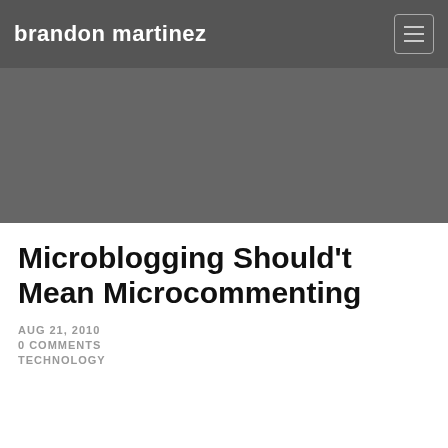brandon martinez
[Figure (photo): Dark gray hero image banner area]
Microblogging Should't Mean Microcommenting
AUG 21, 2010
0 COMMENTS
TECHNOLOGY